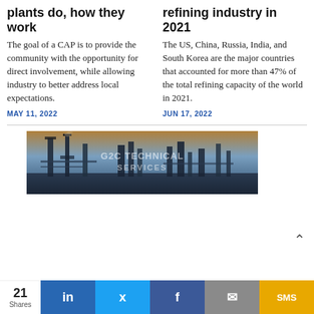plants do, how they work
The goal of a CAP is to provide the community with the opportunity for direct involvement, while allowing industry to better address local expectations.
MAY 11, 2022
refining industry in 2021
The US, China, Russia, India, and South Korea are the major countries that accounted for more than 47% of the total refining capacity of the world in 2021.
JUN 17, 2022
[Figure (photo): Industrial oil refinery at dusk with towers and structures, G2C Technical Services watermark overlay]
21 Shares